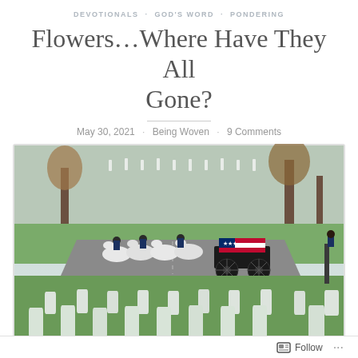DEVOTIONALS · GOD'S WORD · PONDERING
Flowers...Where Have They All Gone?
May 30, 2021 · Being Woven · 9 Comments
[Figure (photo): Military funeral procession at Arlington National Cemetery. White horses pull a black caisson carrying a flag-draped coffin. Riders in military uniform. White gravestones line the foreground and background on a green lawn with bare trees.]
“All flesh is grass, And all its loveliness is like the flower of the field.
Follow